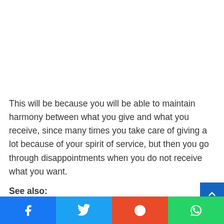This will be because you will be able to maintain harmony between what you give and what you receive, since many times you take care of giving a lot because of your spirit of service, but then you go through disappointments when you do not receive what you want.
See also:
[Figure (other): Social share bar with Facebook, Twitter, Reddit, and WhatsApp buttons]